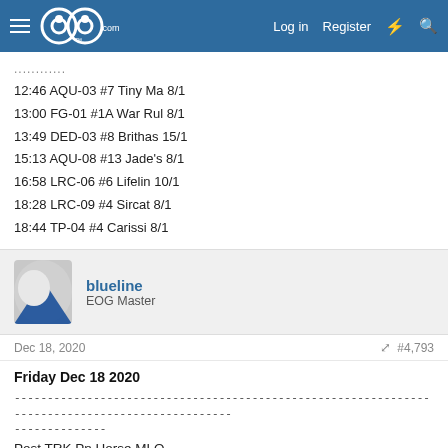GOG.com — Log in | Register
............
12:46 AQU-03 #7 Tiny Ma 8/1
13:00 FG-01 #1A War Rul 8/1
13:49 DED-03 #8 Brithas 15/1
15:13 AQU-08 #13 Jade's 8/1
16:58 LRC-06 #6 Lifelin 10/1
18:28 LRC-09 #4 Sircat 8/1
18:44 TP-04 #4 Carissi 8/1
blueline
EOG Master
Dec 18, 2020
#4,793
Friday Dec 18 2020
Post TRK Pn Horse MLO
12:18 AQU-03 #5 Gone Gl *6/5
13:53 LRL-06 #5 More Tw *1/1